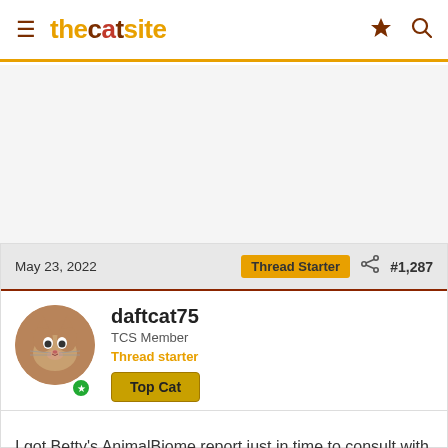thecatsite
[Figure (other): Advertisement placeholder area]
May 23, 2022
Thread Starter  #1,287
daftcat75
TCS Member
Thread starter
Top Cat
I got Betty's AnimalBiome report just in time to consult with the specialist next week. I'm attaching it here for